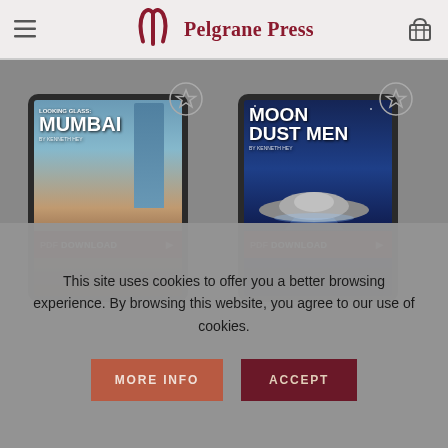Pelgrane Press
[Figure (screenshot): Tablet device showing book cover 'Looking Glass: Mumbai' PDF download product]
[Figure (screenshot): Tablet device showing book cover 'Moon Dust Men' PDF download product]
This site uses cookies to offer you a better browsing experience. By browsing this website, you agree to our use of cookies.
MORE INFO
ACCEPT